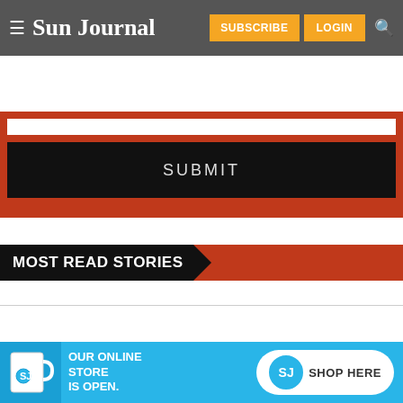Sun Journal — SUBSCRIBE LOGIN
[Figure (screenshot): Red form area with white input bar and black SUBMIT button]
MOST READ STORIES
[Figure (infographic): Ad banner: OUR ONLINE STORE IS OPEN. SHOP HERE with SJ logo and mug image]